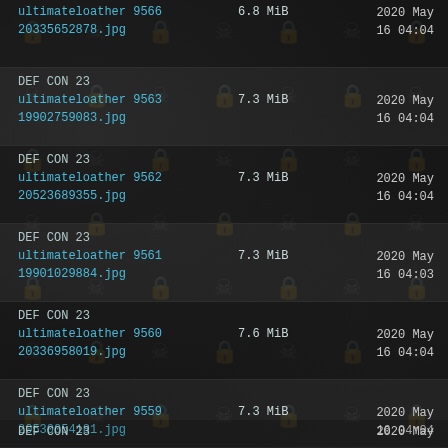DEF CON 23
ultimateloather 9566  6.8 MiB  2020 May 16 04:04
20335652878.jpg
DEF CON 23
ultimateloather 9563  7.3 MiB  2020 May 16 04:04
19902759083.jpg
DEF CON 23
ultimateloather 9562  7.3 MiB  2020 May 16 04:04
20523689355.jpg
DEF CON 23
ultimateloather 9561  7.3 MiB  2020 May 16 04:03
19901029884.jpg
DEF CON 23
ultimateloather 9560  7.6 MiB  2020 May 16 04:04
20336958019.jpg
DEF CON 23
ultimateloather 9559  7.3 MiB  2020 May 16 04:04
20530054181.jpg
DEF CON 23
2020 May